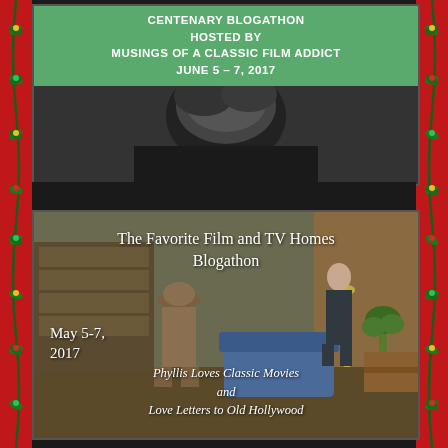[Figure (other): Top image block with green banner reading 'CENTENARY BLOGATHON HOSTED BY MUSINGS OF A CLASSIC FILM ADDICT JUNE 5 – 7, 2017' over a black and white photo background]
[Figure (other): Color photo of a classic film/TV interior home scene with two figures, overlaid with white text: 'The Favorite Film and TV Homes Blogathon', 'May 5-7, 2017', 'Phyllis Loves Classic Movies and Love Letters to Old Hollywood']